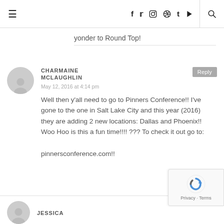≡  f  t  [instagram]  [pinterest]  t  [youtube]  [search]
yonder to Round Top!
CHARMAINE MCLAUGHLIN
May 12, 2016 at 4:14 pm
Well then y'all need to go to Pinners Conference!! I've gone to the one in Salt Lake City and this year (2016) they are adding 2 new locations: Dallas and Phoenix!! Woo Hoo is this a fun time!!!! ??? To check it out go to: pinnersconference.com!!
JESSICA